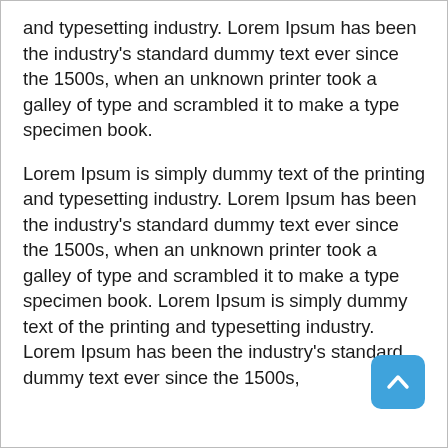and typesetting industry. Lorem Ipsum has been the industry's standard dummy text ever since the 1500s, when an unknown printer took a galley of type and scrambled it to make a type specimen book.
Lorem Ipsum is simply dummy text of the printing and typesetting industry. Lorem Ipsum has been the industry's standard dummy text ever since the 1500s, when an unknown printer took a galley of type and scrambled it to make a type specimen book. Lorem Ipsum is simply dummy text of the printing and typesetting industry. Lorem Ipsum has been the industry's standard dummy text ever since the 1500s,